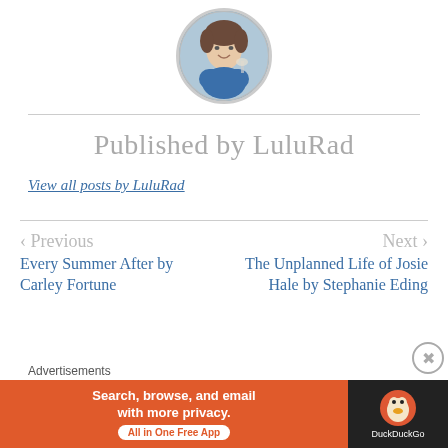[Figure (photo): Circular avatar photo of a woman in a blue floral top holding a wine glass outdoors]
Published by LuluRad
View all posts by LuluRad
< Previous
Every Summer After by Carley Fortune
Next >
The Unplanned Life of Josie Hale by Stephanie Eding
Advertisements
[Figure (screenshot): DuckDuckGo advertisement banner: orange section says 'Search, browse, and email with more privacy. All in One Free App', dark section shows DuckDuckGo duck logo]